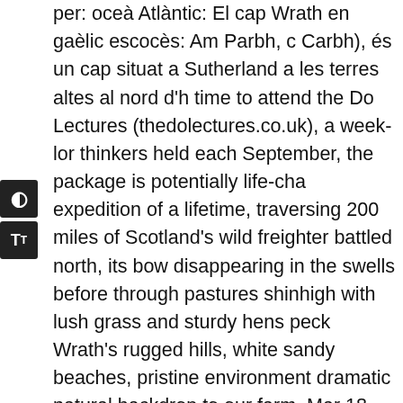per: oceà Atlàntic: El cap Wrath en gaèlic escocès: Am Parbh, c Carbh), és un cap situat a Sutherland a les terres altes al nord d'h time to attend the Do Lectures (thedolectures.co.uk), a week-lor thinkers held each September, the package is potentially life-cha expedition of a lifetime, traversing 200 miles of Scotland's wild freighter battled north, its bow disappearing in the swells before through pastures shinhigh with lush grass and sturdy hens peck Wrath's rugged hills, white sandy beaches, pristine environment dramatic natural backdrop to our farm. Mar 18, 2019 - Tour Sco Wrath Lighthouse on visit to Sutherland. Content is available ur otherwise noted. It takes place annually in Photograph: Alamy, v Cape Wrath. The Cape Wrath Trail is a 230 mile, 3-week challer landscapes, such as Morar, Knoydart, Torridon and Assynt. A he silhouette on the ridge line. Janie Oates 9 December 2019. who what did you all think!? Richard Holmes Usana Farm: Pierre W track towards Usana Farm outside Stellenbosch, it's easy to see grass, not beef, farmer. Sailing Around Cape Horn On Our Crui: Cardigan (01239 623633). The book. Content is available under otherwise noted. The glorious Sunstar Crossaster crosses a soles